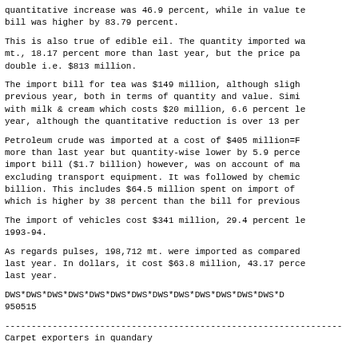quantitative increase was 46.9 percent, while in value te bill was higher by 83.79 percent.
This is also true of edible eil. The quantity imported wa mt., 18.17 percent more than last year, but the price pa double i.e. $813 million.
The import bill for tea was $149 million, although sligh previous year, both in terms of quantity and value. Simi with milk & cream which costs $20 million, 6.6 percent le year, although the quantitative reduction is over 13 per
Petroleum crude was imported at a cost of $405 million=F more than last year but quantity-wise lower by 5.9 perce import bill ($1.7 billion) however, was on account of ma excluding transport equipment. It was followed by chemic billion. This includes $64.5 million spent on import of which is higher by 38 percent than the bill for previous
The import of vehicles cost $341 million, 29.4 percent l 1993-94.
As regards pulses, 198,712 mt. were imported as compared last year. In dollars, it cost $63.8 million, 43.17 perce last year.
DWS*DWS*DWS*DWS*DWS*DWS*DWS*DWS*DWS*DWS*DWS*DWS*DWS*DWS*D
950515
----------------------------------------------------------------
Carpet exporters in quandary